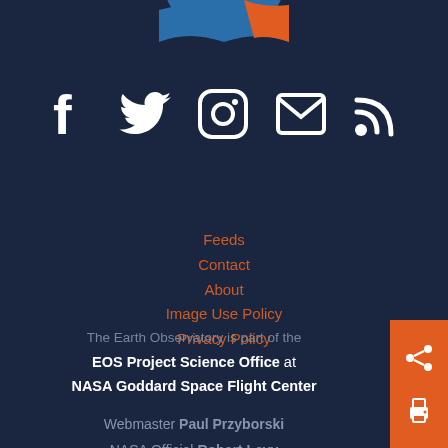[Figure (illustration): Partial circular image at top center (pie/globe graphic in blue and orange)]
[Figure (illustration): Row of 5 social media icons: Facebook, Twitter, Instagram, Email, RSS feed — white icons on dark navy background]
Feeds
Contact
About
Image Use Policy
Privacy Policy
Webmaster Paul Przyborski
NASA Official Robert Levy
The Earth Observatory is part of the EOS Project Science Office at NASA Goddard Space Flight Center
[Figure (illustration): Orange share and print button panel in bottom right corner]